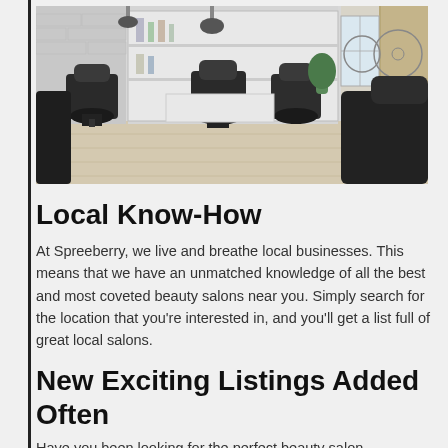[Figure (photo): Interior of a modern barber shop with black leather barber chairs, white shelving with products, exposed brick walls, light wood floors, hanging pendant lights, large windows with curtains, and a bicycle visible outside]
Local Know-How
At Spreeberry, we live and breathe local businesses. This means that we have an unmatched knowledge of all the best and most coveted beauty salons near you. Simply search for the location that you're interested in, and you'll get a list full of great local salons.
New Exciting Listings Added Often
Have you been looking for the perfect beauty salon